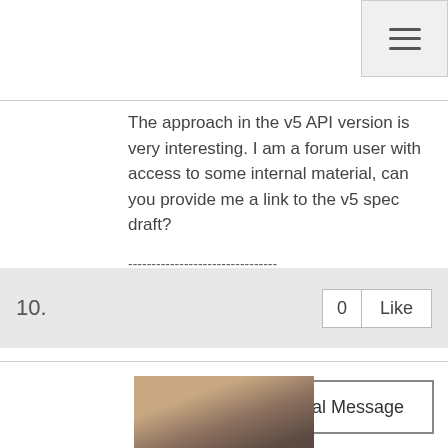[Figure (other): Hamburger/navigation menu button icon in top-right corner]
The approach in the v5 API version is very interesting. I am a forum user with access to some internal material, can you provide me a link to the v5 spec draft?
--------------------------------
Paul Stanek
Suntech S.A.
--------------------------------
❯ Original Message
10.
0   Like
[Figure (photo): Profile photo of a person, partially visible at bottom of page]